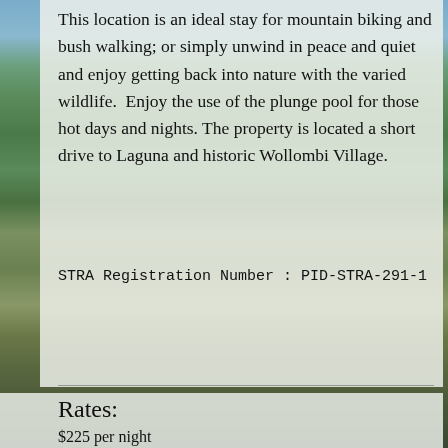This location is an ideal stay for mountain biking and bush walking; or simply unwind in peace and quiet and enjoy getting back into nature with the varied wildlife.  Enjoy the use of the plunge pool for those hot days and nights. The property is located a short drive to Laguna and historic Wollombi Village.
STRA Registration Number : PID-STRA-291-1
Rates:
$225 per night
One night stays available on request.